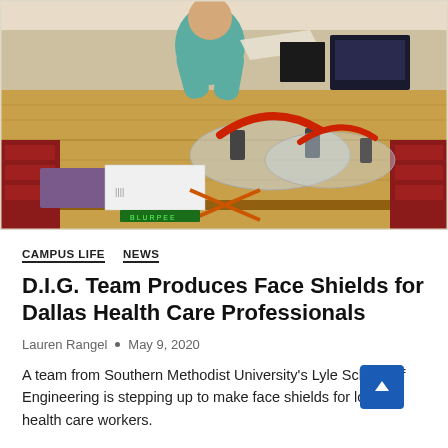[Figure (photo): A person in a teal shirt stands behind a wooden worktable in a lab/workshop setting, holding a piece of material. On the table are assembled face shields (clear plastic with red/dark headbands), a purple sponge block, and a white box. Red tool cabinets and electronics equipment are visible in the background.]
CAMPUS LIFE   NEWS
D.I.G. Team Produces Face Shields for Dallas Health Care Professionals
Lauren Rangel  •  May 9, 2020
A team from Southern Methodist University's Lyle School Of Engineering is stepping up to make face shields for local health care workers.